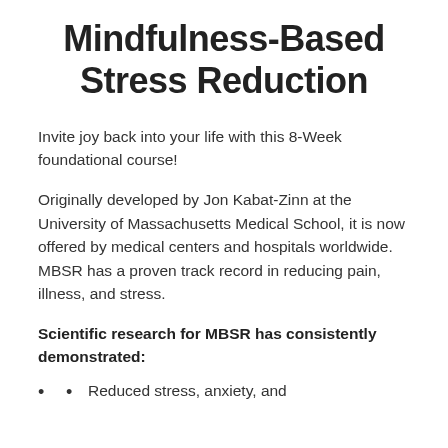Mindfulness-Based Stress Reduction
Invite joy back into your life with this 8-Week foundational course!
Originally developed by Jon Kabat-Zinn at the University of Massachusetts Medical School, it is now offered by medical centers and hospitals worldwide. MBSR has a proven track record in reducing pain, illness, and stress.
Scientific research for MBSR has consistently demonstrated:
Reduced stress, anxiety, and